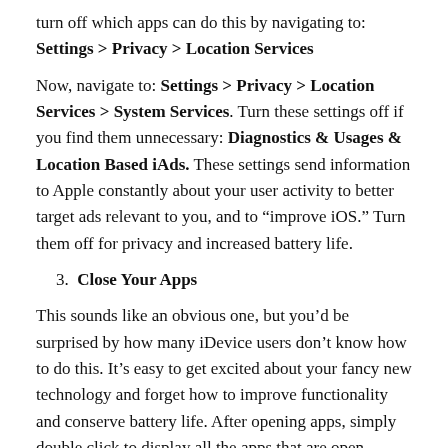turn off which apps can do this by navigating to: Settings > Privacy > Location Services
Now, navigate to: Settings > Privacy > Location Services > System Services. Turn these settings off if you find them unnecessary: Diagnostics & Usages & Location Based iAds. These settings send information to Apple constantly about your user activity to better target ads relevant to you, and to “improve iOS.” Turn them off for privacy and increased battery life.
3. Close Your Apps
This sounds like an obvious one, but you’d be surprised by how many iDevice users don’t know how to do this. It’s easy to get excited about your fancy new technology and forget how to improve functionality and conserve battery life. After opening apps, simply double click to display all the apps that are open. Swipe upwards to close them.